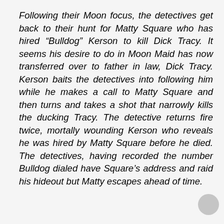Following their Moon focus, the detectives get back to their hunt for Matty Square who has hired “Bulldog” Kerson to kill Dick Tracy. It seems his desire to do in Moon Maid has now transferred over to father in law, Dick Tracy. Kerson baits the detectives into following him while he makes a call to Matty Square and then turns and takes a shot that narrowly kills the ducking Tracy. The detective returns fire twice, mortally wounding Kerson who reveals he was hired by Matty Square before he died. The detectives, having recorded the number Bulldog dialed have Square’s address and raid his hideout but Matty escapes ahead of time.